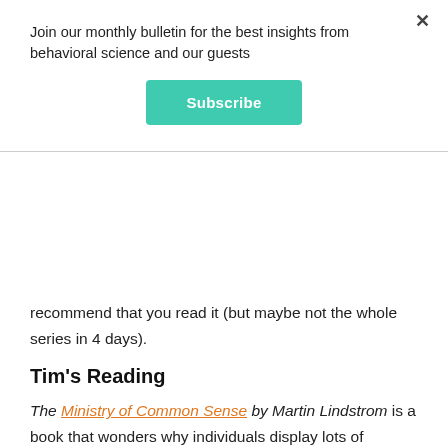Join our monthly bulletin for the best insights from behavioral science and our guests
Subscribe
recommend that you read it (but maybe not the whole series in 4 days).
Tim's Reading
The Ministry of Common Sense by Martin Lindstrom is a book that wonders why individuals display lots of evidence of common sense – looking both ways before we cross the street – but organizations suppress our natural instinct for empathy and ignore basic rights and wrongs. His